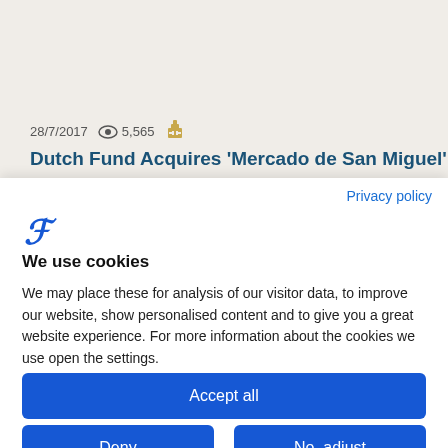[Figure (screenshot): Article preview with date 28/7/2017, view count 5,565, and building icon]
Dutch Fund Acquires 'Mercado de San Miguel' For
Privacy policy
[Figure (logo): Stylized F logo in blue for cookie consent dialog]
We use cookies
We may place these for analysis of our visitor data, to improve our website, show personalised content and to give you a great website experience. For more information about the cookies we use open the settings.
Accept all
Deny
No, adjust